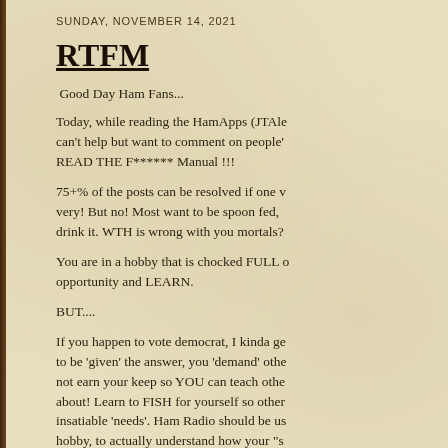SUNDAY, NOVEMBER 14, 2021
RTFM
Good Day Ham Fans...
Today, while reading the HamApps (JTAle... can't help but want to comment on people'... READ THE F****** Manual !!!
75+% of the posts can be resolved if one v... very! But no! Most want to be spoon fed, ... drink it. WTH is wrong with you mortals?
You are in a hobby that is chocked FULL ... opportunity and LEARN.
BUT....
If you happen to vote democrat, I kinda ge... to be 'given' the answer, you 'demand' othe... not earn your keep so YOU can teach othe... about! Learn to FISH for yourself so other... insatiable 'needs'. Ham Radio should be us... hobby, to actually understand how your "s... world that would be.
Those email reflector moderators etc must...